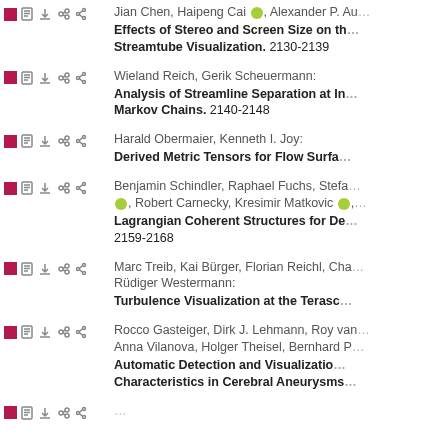Jian Chen, Haipeng Cai, Alexander P. Au...
Effects of Stereo and Screen Size on the Streamtube Visualization. 2130-2139
Wieland Reich, Gerik Scheuermann:
Analysis of Streamline Separation at In... Markov Chains. 2140-2148
Harald Obermaier, Kenneth I. Joy:
Derived Metric Tensors for Flow Surfa...
Benjamin Schindler, Raphael Fuchs, Stefa..., Robert Carnecky, Kresimir Matkovic...
Lagrangian Coherent Structures for De... 2159-2168
Marc Treib, Kai Bürger, Florian Reichl, Cha... Rüdiger Westermann:
Turbulence Visualization at the Terasc...
Rocco Gasteiger, Dirk J. Lehmann, Roy van... Anna Vilanova, Holger Theisel, Bernhard P...
Automatic Detection and Visualization... Characteristics in Cerebral Aneurysms...
...